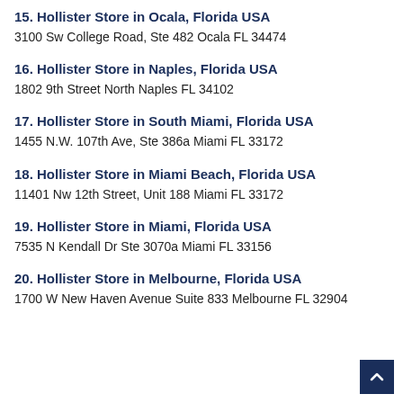15. Hollister Store in Ocala, Florida USA
3100 Sw College Road, Ste 482 Ocala FL 34474
16. Hollister Store in Naples, Florida USA
1802 9th Street North Naples FL 34102
17. Hollister Store in South Miami, Florida USA
1455 N.W. 107th Ave, Ste 386a Miami FL 33172
18. Hollister Store in Miami Beach, Florida USA
11401 Nw 12th Street, Unit 188 Miami FL 33172
19. Hollister Store in Miami, Florida USA
7535 N Kendall Dr Ste 3070a Miami FL 33156
20. Hollister Store in Melbourne, Florida USA
1700 W New Haven Avenue Suite 833 Melbourne FL 32904